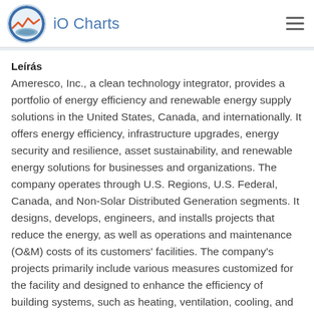iO Charts
Leírás
Ameresco, Inc., a clean technology integrator, provides a portfolio of energy efficiency and renewable energy supply solutions in the United States, Canada, and internationally. It offers energy efficiency, infrastructure upgrades, energy security and resilience, asset sustainability, and renewable energy solutions for businesses and organizations. The company operates through U.S. Regions, U.S. Federal, Canada, and Non-Solar Distributed Generation segments. It designs, develops, engineers, and installs projects that reduce the energy, as well as operations and maintenance (O&M) costs of its customers' facilities. The company's projects primarily include various measures customized for the facility and designed to enhance the efficiency of building systems, such as heating, ventilation, cooling, and lighting systems. It also offers renewable energy